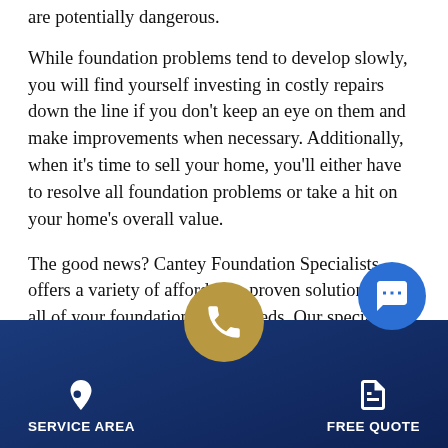are potentially dangerous.
While foundation problems tend to develop slowly, you will find yourself investing in costly repairs down the line if you don't keep an eye on them and make improvements when necessary. Additionally, when it's time to sell your home, you'll either have to resolve all foundation problems or take a hit on your home's overall value.
The good news? Cantey Foundation Specialists offers a variety of affordable, proven solutions for all of your foundation repair needs. Our specialists can inspect your foundation, pinpointing all problem areas and coming up with the best plan of action.
[Figure (infographic): Blue circular chat bubble icon on the right side]
[Figure (infographic): Footer navigation bar with dark blue gradient background, location pin icon with SERVICE AREA label, gold circular phone button in center, document icon with FREE QUOTE label]